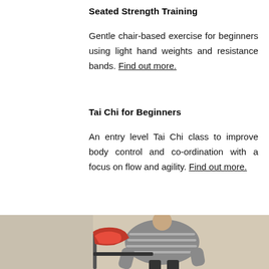Seated Strength Training
Gentle chair-based exercise for beginners using light hand weights and resistance bands. Find out more.
Tai Chi for Beginners
An entry level Tai Chi class to improve body control and co-ordination with a focus on flow and agility. Find out more.
[Figure (photo): An elderly person standing beside a chair with a red jacket draped over it, wearing a grey striped sweater and dark trousers, in an exercise or activity context]